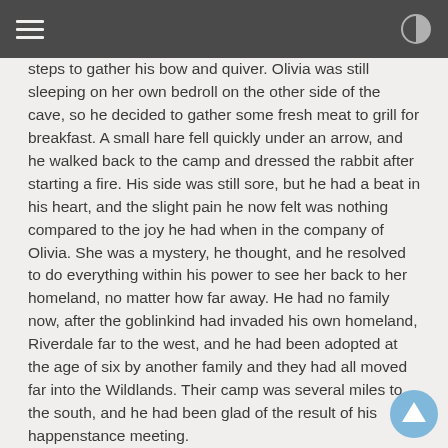steps to gather his bow and quiver. Olivia was still sleeping on her own bedroll on the other side of the cave, so he decided to gather some fresh meat to grill for breakfast. A small hare fell quickly under an arrow, and he walked back to the camp and dressed the rabbit after starting a fire. His side was still sore, but he had a beat in his heart, and the slight pain he now felt was nothing compared to the joy he had when in the company of Olivia. She was a mystery, he thought, and he resolved to do everything within his power to see her back to her homeland, no matter how far away. He had no family now, after the goblinkind had invaded his own homeland, Riverdale far to the west, and he had been adopted at the age of six by another family and they had all moved far into the Wildlands. Their camp was several miles to the south, and he had been glad of the result of his happenstance meeting.
Olivia awoke to the smell of something delicious. She rubbed her eyes, thinking she had a horrible dream, and then startled when she realized where she was at. Curiously, she got up and went outside, and saw Oaken cooking over the fire. Her stomach rumbled, as she had been rationing her